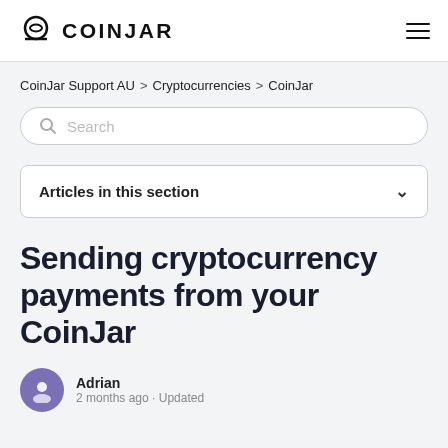COINJAR
CoinJar Support AU > Cryptocurrencies > CoinJar
Search
Articles in this section
Sending cryptocurrency payments from your CoinJar
Adrian
2 months ago · Updated